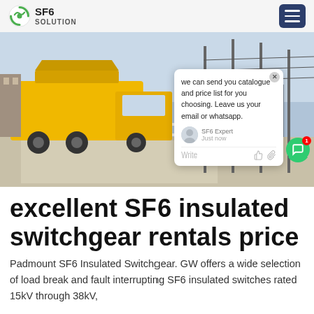SF6 SOLUTION
[Figure (photo): A yellow truck/service vehicle parked at an electrical substation with high-voltage equipment and power lines in the background. A live chat popup overlay is visible on the right side of the image.]
excellent SF6 insulated switchgear rentals price
Padmount SF6 Insulated Switchgear. GW offers a wide selection of load break and fault interrupting SF6 insulated switches rated 15kV through 38kV,